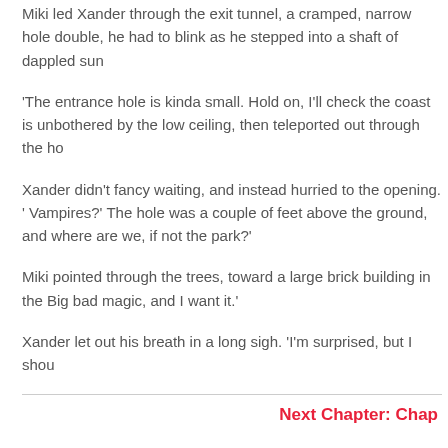Miki led Xander through the exit tunnel, a cramped, narrow hole double, he had to blink as he stepped into a shaft of dappled sun
'The entrance hole is kinda small. Hold on, I'll check the coast is unbothered by the low ceiling, then teleported out through the ho
Xander didn't fancy waiting, and instead hurried to the opening. 'Vampires?' The hole was a couple of feet above the ground, and where are we, if not the park?'
Miki pointed through the trees, toward a large brick building in the Big bad magic, and I want it.'
Xander let out his breath in a long sigh. 'I'm surprised, but I shou
Next Chapter: Chap